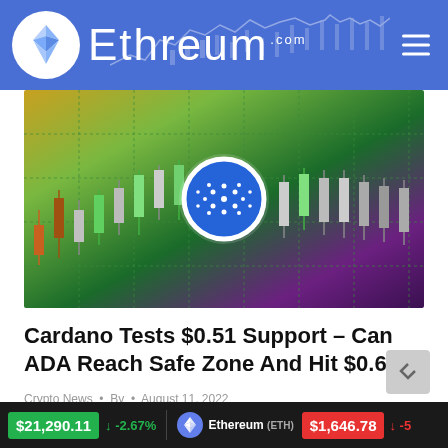Ethreum.com
[Figure (screenshot): Cardano (ADA) candlestick price chart with Cardano logo overlay on dark green/gradient background]
Cardano Tests $0.51 Support – Can ADA Reach Safe Zone And Hit $0.67?
Crypto News • By • August 11, 2022
Cardano spikes by 5% as seen on the daily price chart Bulls likely to touch bullish triangle from
$21,290.11 ↓ -2.67%  Ethereum (ETH)  $1,646.78 ↓ -5